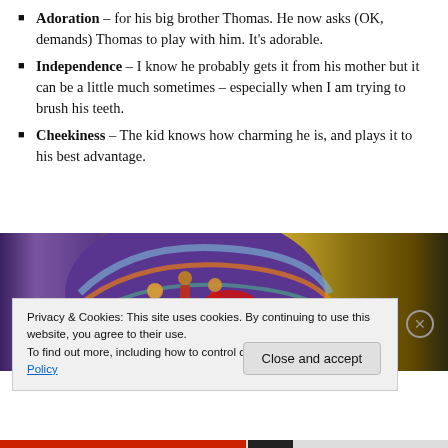Adoration – for his big brother Thomas. He now asks (OK, demands) Thomas to play with him. It's adorable.
Independence – I know he probably gets it from his mother but it can be a little much sometimes – especially when I am trying to brush his teeth.
Cheekiness – The kid knows how charming he is, and plays it to his best advantage.
[Figure (photo): A young child wearing a colorful striped knit hat with cartoon figures on it, against a golden/grungy background]
Privacy & Cookies: This site uses cookies. By continuing to use this website, you agree to their use.
To find out more, including how to control cookies, see here: Cookie Policy
Close and accept